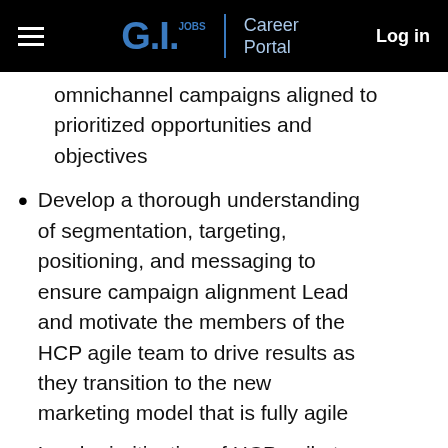GI.Jobs | Career Portal   Log in
omnichannel campaigns aligned to prioritized opportunities and objectives
Develop a thorough understanding of segmentation, targeting, positioning, and messaging to ensure campaign alignment Lead and motivate the members of the HCP agile team to drive results as they transition to the new marketing model that is fully agile
Lead prioritization of HCP agile team